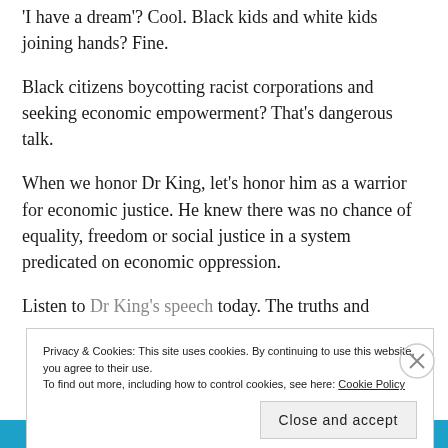'I have a dream'? Cool. Black kids and white kids joining hands? Fine.
Black citizens boycotting racist corporations and seeking economic empowerment? That's dangerous talk.
When we honor Dr King, let's honor him as a warrior for economic justice. He knew there was no chance of equality, freedom or social justice in a system predicated on economic oppression.
Listen to Dr King's speech today. The truths and
Privacy & Cookies: This site uses cookies. By continuing to use this website, you agree to their use.
To find out more, including how to control cookies, see here: Cookie Policy
Close and accept